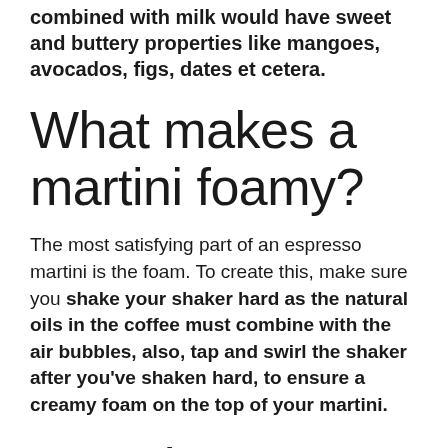combined with milk would have sweet and buttery properties like mangoes, avocados, figs, dates et cetera.
What makes a martini foamy?
The most satisfying part of an espresso martini is the foam. To create this, make sure you shake your shaker hard as the natural oils in the coffee must combine with the air bubbles, also, tap and swirl the shaker after you've shaken hard, to ensure a creamy foam on the top of your martini.
How do you get foam